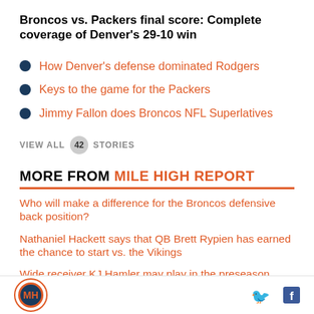Broncos vs. Packers final score: Complete coverage of Denver's 29-10 win
How Denver's defense dominated Rodgers
Keys to the game for the Packers
Jimmy Fallon does Broncos NFL Superlatives
VIEW ALL 42 STORIES
MORE FROM MILE HIGH REPORT
Who will make a difference for the Broncos defensive back position?
Nathaniel Hackett says that QB Brett Rypien has earned the chance to start vs. the Vikings
Wide receiver KJ Hamler may play in the preseason finale
Mile High Report logo, Twitter and Facebook icons